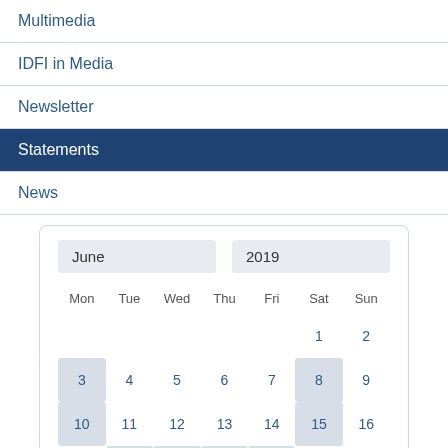Multimedia
IDFI in Media
Newsletter
Statements
News
[Figure (other): Calendar widget showing June 2019 with day 27 selected and several other days highlighted]